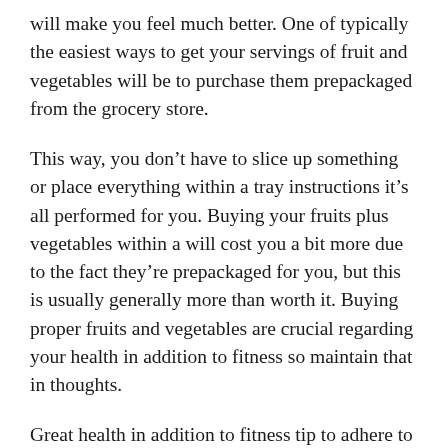will make you feel much better. One of typically the easiest ways to get your servings of fruit and vegetables will be to purchase them prepackaged from the grocery store.
This way, you don’t have to slice up something or place everything within a tray instructions it’s all performed for you. Buying your fruits plus vegetables within a will cost you a bit more due to the fact they’re prepackaged for you, but this is usually generally more than worth it. Buying proper fruits and vegetables are crucial regarding your health in addition to fitness so maintain that in thoughts.
Great health in addition to fitness tip to adhere to is to subscribe to several weight damage and muscle mags